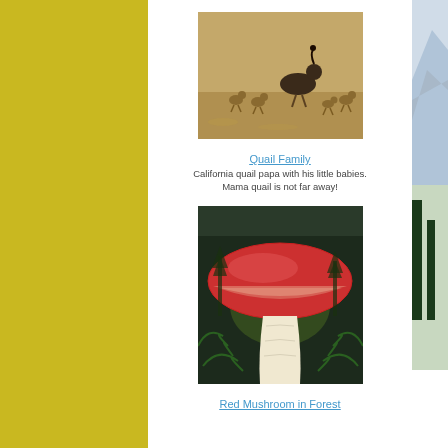[Figure (photo): California quail (adult papa) walking on sandy ground with several small chicks around it]
Quail Family
California quail papa with his little babies. Mama quail is not far away!
[Figure (photo): Large red mushroom with a wide cap growing in a forest floor among green ferns and pine trees]
Red Mushroom in Forest